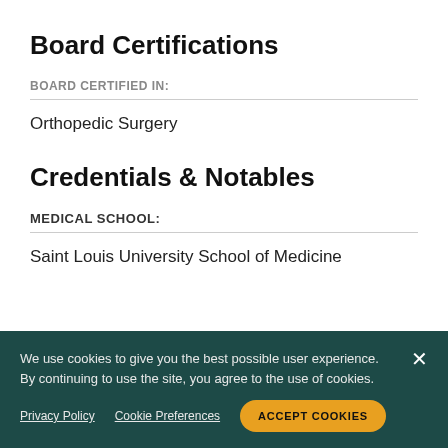Board Certifications
BOARD CERTIFIED IN:
Orthopedic Surgery
Credentials & Notables
MEDICAL SCHOOL:
Saint Louis University School of Medicine
We use cookies to give you the best possible user experience. By continuing to use the site, you agree to the use of cookies.
Privacy Policy   Cookie Preferences   ACCEPT COOKIES